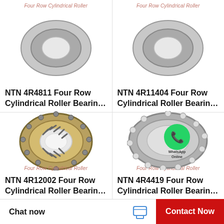Four Row Cylindrical Roller
NTN 4R4811 Four Row Cylindrical Roller Bearin…
Four Row Cylindrical Roller
NTN 4R11404 Four Row Cylindrical Roller Bearin…
[Figure (photo): Photo of NTN 4R12002 four row cylindrical roller bearing showing internal roller assembly]
Four Row Cylindrical Roller
NTN 4R12002 Four Row Cylindrical Roller Bearin…
[Figure (photo): Photo of NTN 4R4419 four row cylindrical roller bearing with WhatsApp Online overlay]
Four Row Cylindrical Roller
NTN 4R4419 Four Row Cylindrical Roller Bearin…
Chat now
Contact Now